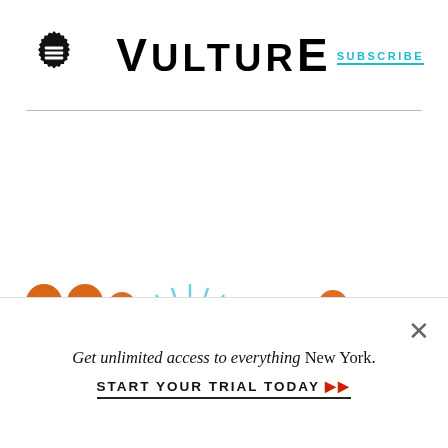VULTURE | SUBSCRIBE
[Figure (logo): Vulture website header with hamburger menu icon on left, VULTURE logo in center, SUBSCRIBE link on right with teal underline]
[Figure (other): Partial view of page content with sunburst/starburst graphic in light blue and orange circular elements partially visible at bottom of main content area]
Get unlimited access to everything New York.
START YOUR TRIAL TODAY ➤➤